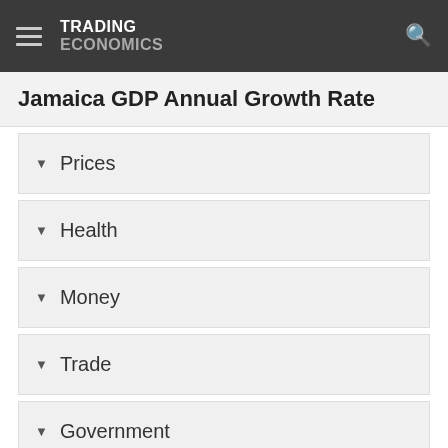TRADING ECONOMICS
Jamaica GDP Annual Growth Rate
Prices
Health
Money
Trade
Government
Business
Consumer